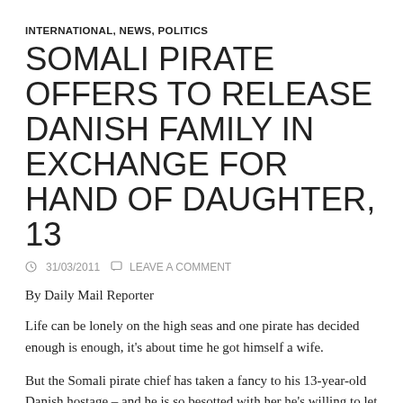INTERNATIONAL, NEWS, POLITICS
SOMALI PIRATE OFFERS TO RELEASE DANISH FAMILY IN EXCHANGE FOR HAND OF DAUGHTER, 13
31/03/2011  LEAVE A COMMENT
By Daily Mail Reporter
Life can be lonely on the high seas and one pirate has decided enough is enough, it's about time he got himself a wife.
But the Somali pirate chief has taken a fancy to his 13-year-old Danish hostage – and he is so besotted with her he's willing to let the rest of her family go free, and even forget the $5 million dollar…